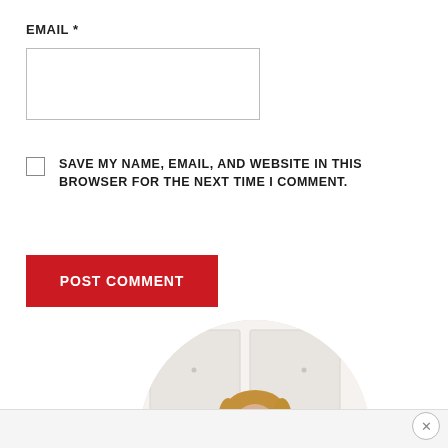EMAIL *
[Figure (screenshot): Empty email input text field with light gray border]
SAVE MY NAME, EMAIL, AND WEBSITE IN THIS BROWSER FOR THE NEXT TIME I COMMENT.
[Figure (screenshot): Red POST COMMENT button]
[Figure (photo): Circular cropped photo of a smiling woman with blonde hair in a kitchen setting]